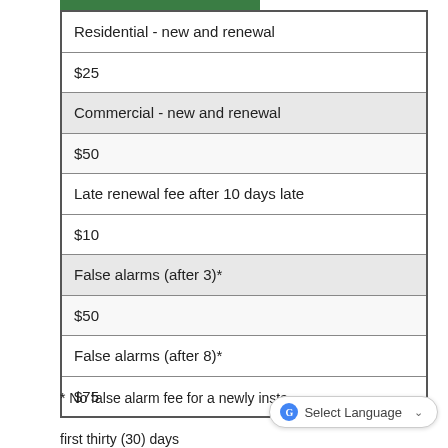| Residential - new and renewal |
| $25 |
| Commercial - new and renewal |
| $50 |
| Late renewal fee after 10 days late |
| $10 |
| False alarms (after 3)* |
| $50 |
| False alarms (after 8)* |
| $75 |
* No false alarm fee for a newly installed system for the first thirty (30) days